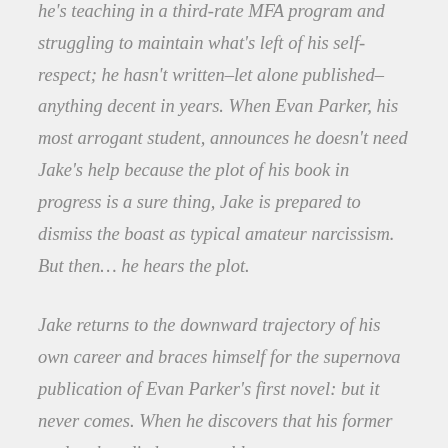he's teaching in a third-rate MFA program and struggling to maintain what's left of his self-respect; he hasn't written–let alone published–anything decent in years. When Evan Parker, his most arrogant student, announces he doesn't need Jake's help because the plot of his book in progress is a sure thing, Jake is prepared to dismiss the boast as typical amateur narcissism. But then… he hears the plot.
Jake returns to the downward trajectory of his own career and braces himself for the supernova publication of Evan Parker's first novel: but it never comes. When he discovers that his former student has died, presumably